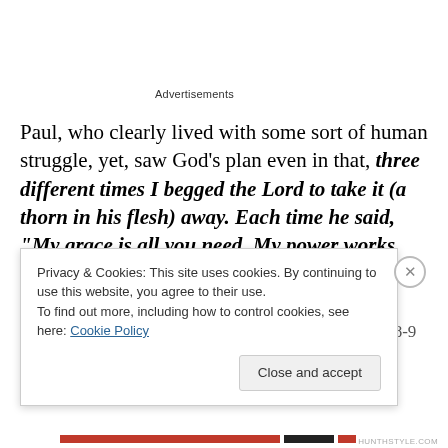Advertisements
Paul, who clearly lived with some sort of human struggle, yet, saw God’s plan even in that, three different times I begged the Lord to take it (a thorn in his flesh) away. Each time he said, “My grace is all you need. My power works best in weakness.” So now I am glad to boast about my weaknesses, so that the power of Christ can work through me. 2 Corinthians 12:8-9
Privacy & Cookies: This site uses cookies. By continuing to use this website, you agree to their use.
To find out more, including how to control cookies, see here: Cookie Policy
Close and accept
HUNTHSTYLE.COM